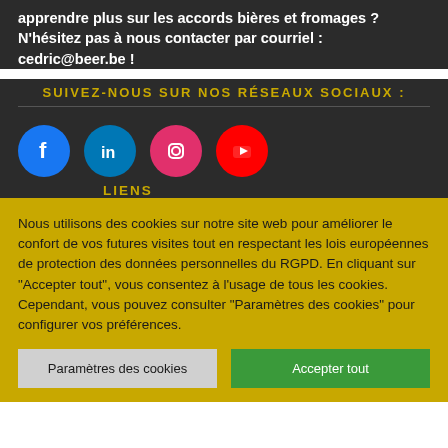apprendre plus sur les accords bières et fromages ? N'hésitez pas à nous contacter par courriel : cedric@beer.be !
SUIVEZ-NOUS SUR NOS RÉSEAUX SOCIAUX :
[Figure (illustration): Four social media icon circles: Facebook (blue), LinkedIn (blue), Instagram (pink/magenta), YouTube (red), each with white icon inside.]
LIENS
Nous utilisons des cookies sur notre site web pour améliorer le confort de vos futures visites tout en respectant les lois européennes de protection des données personnelles du RGPD. En cliquant sur "Accepter tout", vous consentez à l'usage de tous les cookies. Cependant, vous pouvez consulter "Paramètres des cookies" pour configurer vos préférences.
Paramètres des cookies | Accepter tout